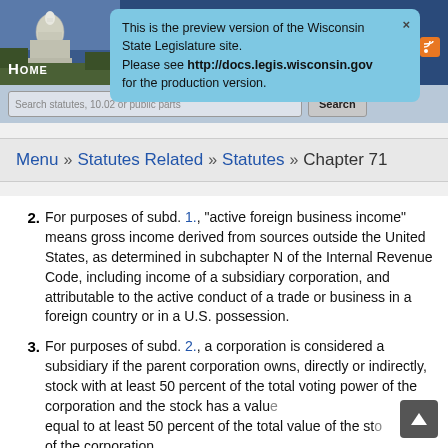Wisconsin State Legislature site header with capitol building image and HOME navigation
This is the preview version of the Wisconsin State Legislature site. Please see http://docs.legis.wisconsin.gov for the production version.
Search statutes, 10.02 or public parts | Search
Menu » Statutes Related » Statutes » Chapter 71
2. For purposes of subd. 1., "active foreign business income" means gross income derived from sources outside the United States, as determined in subchapter N of the Internal Revenue Code, including income of a subsidiary corporation, and attributable to the active conduct of a trade or business in a foreign country or in a U.S. possession.
3. For purposes of subd. 2., a corporation is considered a subsidiary if the parent corporation owns, directly or indirectly, stock with at least 50 percent of the total voting power of the corporation and the stock has a value equal to at least 50 percent of the total value of the stock of the corporation.